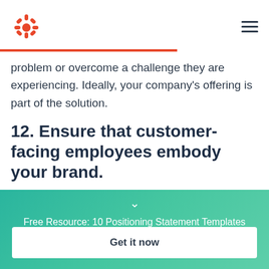HubSpot logo and navigation menu
problem or overcome a challenge they are experiencing. Ideally, your company's offering is part of the solution.
12. Ensure that customer-facing employees embody your brand.
[Figure (infographic): Teal gradient banner with chevron down icon and text: Free Resource: 10 Positioning Statement Templates [Download Now]]
Get it now